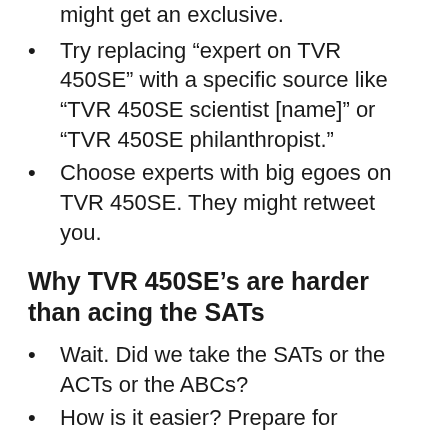might get an exclusive.
Try replacing “expert on TVR 450SE” with a specific source like “TVR 450SE scientist [name]” or “TVR 450SE philanthropist.”
Choose experts with big egoes on TVR 450SE. They might retweet you.
Why TVR 450SE’s are harder than acing the SATs
Wait. Did we take the SATs or the ACTs or the ABCs?
How is it easier? Prepare for